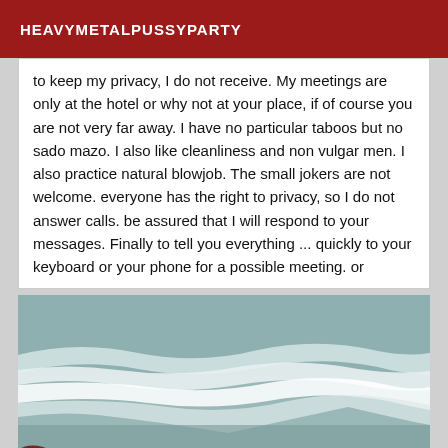HEAVYMETALPUSSYPARTY
to keep my privacy, I do not receive. My meetings are only at the hotel or why not at your place, if of course you are not very far away. I have no particular taboos but no sado mazo. I also like cleanliness and non vulgar men. I also practice natural blowjob. The small jokers are not welcome. everyone has the right to privacy, so I do not answer calls. be assured that I will respond to your messages. Finally to tell you everything ... quickly to your keyboard or your phone for a possible meeting. or
[Figure (photo): Outdoor photo showing ocean waves with white foam, with a dark reddish object (possibly clothing or an accessory) visible in the lower left corner.]